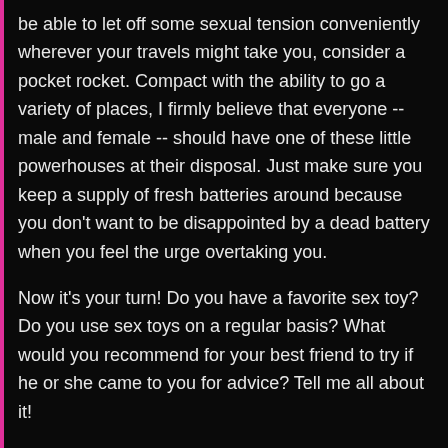be able to let off some sexual tension conveniently wherever your travels might take you, consider a pocket rocket. Compact with the ability to go a variety of places, I firmly believe that everyone -- male and female -- should have one of these little powerhouses at their disposal. Just make sure you keep a supply of fresh batteries around because you don't want to be disappointed by a dead battery when you feel the urge overtaking you.
Now it's your turn! Do you have a favorite sex toy? Do you use sex toys on a regular basis? What would you recommend for your best friend to try if he or she came to you for advice? Tell me all about it!
Until next time...
Veronika <3
Category: Veronika's Views